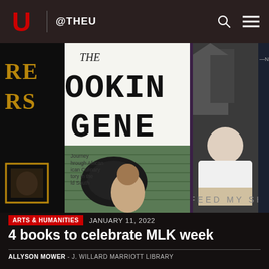@THEU
[Figure (photo): Collage of 4 book covers and photos related to MLK week: partial book covers on left and right edges, center-left shows 'THE COOKING GENE' book cover with a man sitting in front of green siding, center-right shows a black-and-white photo of a woman reclining with text 'FEED MY SH' visible]
ARTS & HUMANITIES   JANUARY 11, 2022
4 books to celebrate MLK week
ALLYSON MOWER - J. WILLARD MARRIOTT LIBRARY